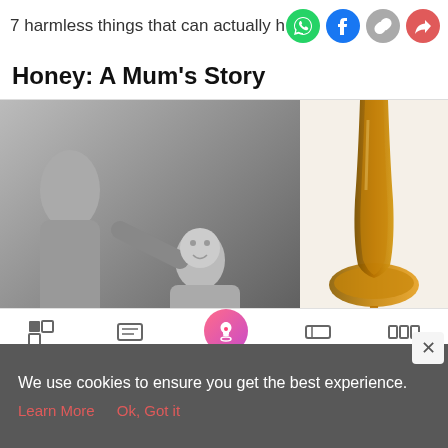7 harmless things that can actually h...
Honey: A Mum's Story
[Figure (photo): Two-panel image: left panel shows a black-and-white photo of a woman with a baby; right panel shows honey being poured from a spoon.]
[Figure (screenshot): Hefty Slider Bags advertisement banner - Close With Confidence]
[Figure (screenshot): Navigation bar with Tools, Articles, Home, Feed, Poll icons]
We use cookies to ensure you get the best experience.
Learn More    Ok, Got it